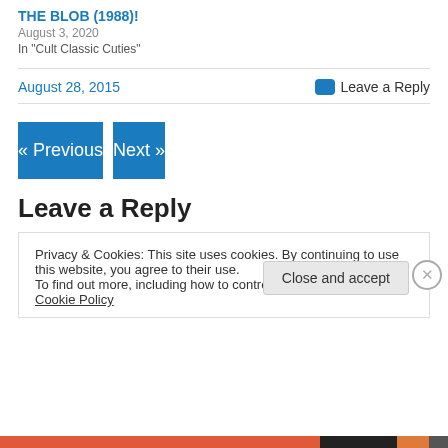THE BLOB (1988)!
August 3, 2020
In "Cult Classic Cuties"
August 28, 2015
Leave a Reply
« Previous
Next »
Leave a Reply
Privacy & Cookies: This site uses cookies. By continuing to use this website, you agree to their use.
To find out more, including how to control cookies, see here: Cookie Policy
Close and accept